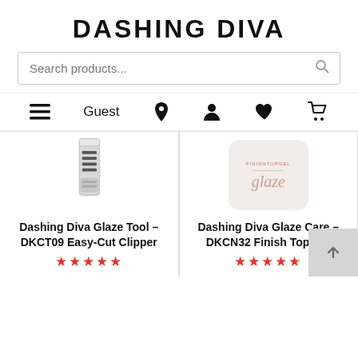DASHING DIVA
Search products...
Guest
[Figure (screenshot): Dashing Diva mobile e-commerce page showing two products: a nail clipper tool and a finish top gel, each with star ratings]
Dashing Diva Glaze Tool – DKCT09 Easy-Cut Clipper
Dashing Diva Glaze Care – DKCN32 Finish Top Gel